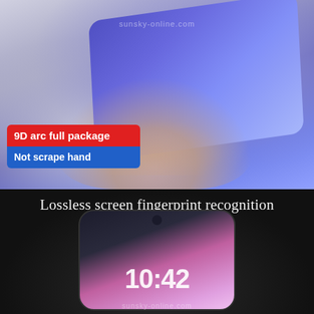[Figure (photo): Hand holding a smartphone with blue/purple gradient screen display, photographed from below at an angle. Watermark 'sunsky-online.com' visible at top.]
9D arc full package
Not scrape hand
[Figure (photo): Dark background product photo of a smartphone showing time 10:42 on screen with pink/purple gradient display. Watermark 'sunsky-online.com' at bottom.]
Lossless screen fingerprint recognition
Smooth, touch sensitive, flash unlock